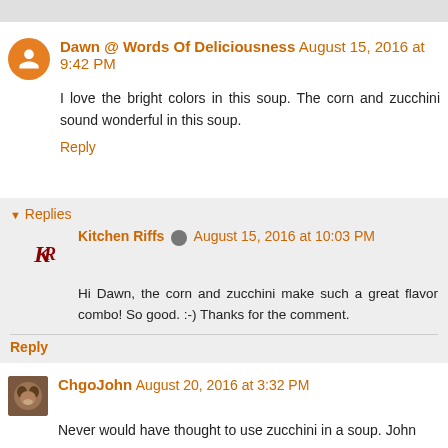Dawn @ Words Of Deliciousness August 15, 2016 at 9:42 PM
I love the bright colors in this soup. The corn and zucchini sound wonderful in this soup.
Reply
Replies
Kitchen Riffs August 15, 2016 at 10:03 PM
Hi Dawn, the corn and zucchini make such a great flavor combo! So good. :-) Thanks for the comment.
Reply
ChgoJohn August 20, 2016 at 3:32 PM
Never would have thought to use zucchini in a soup. John